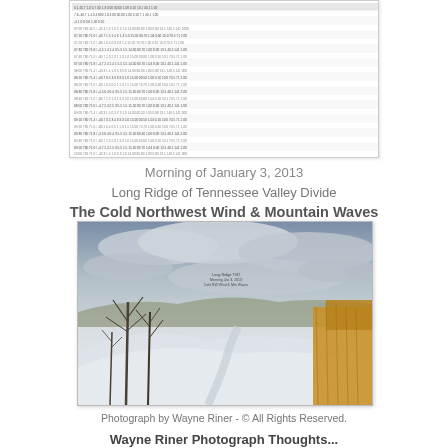[Figure (table-as-image): Partial view of a data table with many columns and rows of meteorological or observation data, small text, cut off at top of page]
Morning of January 3, 2013
Long Ridge of Tennessee Valley Divide
The Cold Northwest Wind & Mountain Waves
[Figure (photo): Winter landscape photograph showing a snow-covered hillside with bare trees, brown tall grass on the right, and a cloudy sky. Small text overlay near center of sky area.]
Photograph by Wayne Riner - © All Rights Reserved.
Wayne Riner Photograph Thoughts...
The very cold northwest wind blows the brown grass.